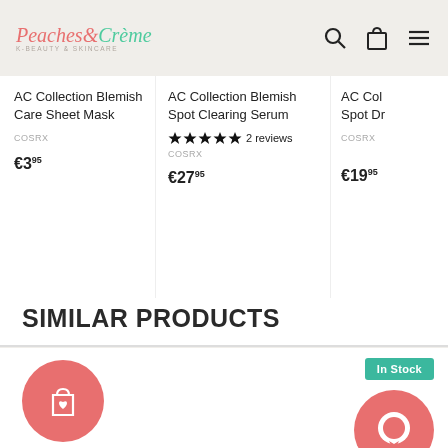Peaches & Crème K-Beauty & Skincare
AC Collection Blemish Care Sheet Mask
COSRX
€3.95
AC Collection Blemish Spot Clearing Serum
2 reviews
COSRX
€27.95
AC Col Spot Dr
COSRX
€19.95
SIMILAR PRODUCTS
[Figure (illustration): Red circle with shopping bag and heart icon]
[Figure (illustration): Green In Stock badge and red circle chat button]